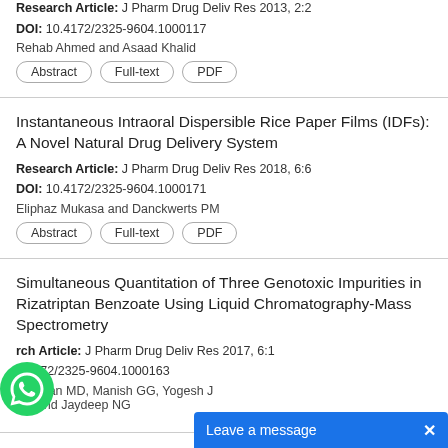Research Article: J Pharm Drug Deliv Res 2013, 2:2
DOI: 10.4172/2325-9604.1000117
Rehab Ahmed and Asaad Khalid
Abstract | Full-text | PDF
Instantaneous Intraoral Dispersible Rice Paper Films (IDFs): A Novel Natural Drug Delivery System
Research Article: J Pharm Drug Deliv Res 2018, 6:6
DOI: 10.4172/2325-9604.1000171
Eliphaz Mukasa and Danckwerts PM
Abstract | Full-text | PDF
Simultaneous Quantitation of Three Genotoxic Impurities in Rizatriptan Benzoate Using Liquid Chromatography-Mass Spectrometry
Research Article: J Pharm Drug Deliv Res 2017, 6:1
DOI: 10.4172/2325-9604.1000163
Niranjan MD, Manish GG, Yogesh J, VD and Jaydeep NG